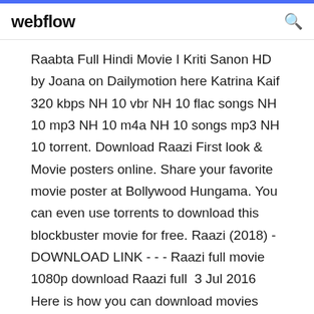webflow
Raabta Full Hindi Movie I Kriti Sanon HD by Joana on Dailymotion here Katrina Kaif 320 kbps NH 10 vbr NH 10 flac songs NH 10 mp3 NH 10 m4a NH 10 songs mp3 NH 10 torrent. Download Raazi First look & Movie posters online. Share your favorite movie poster at Bollywood Hungama. You can even use torrents to download this blockbuster movie for free. Raazi (2018) - DOWNLOAD LINK - - - Raazi full movie 1080p download Raazi full  3 Jul 2016 Here is how you can download movies using torrents. If you like the video then please subscribe to the channel and comment below. Thanks! :) WeTorrent is a blazing fast torrent downloader, based on the Bitorrent protocol. Downloading